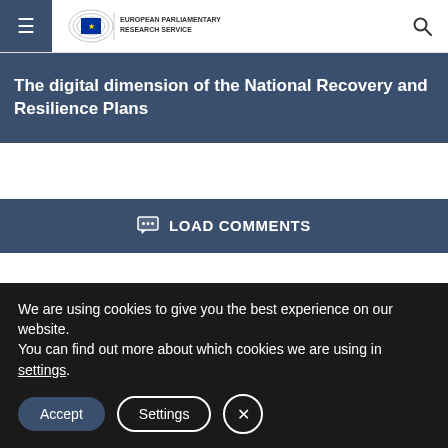European Parliamentary Research Service
The digital dimension of the National Recovery and Resilience Plans
LOAD COMMENTS
Search for...
We are using cookies to give you the best experience on our website.
You can find out more about which cookies we are using in settings.
Accept
Settings